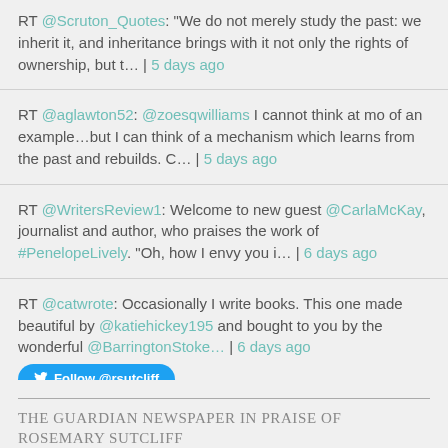RT @Scruton_Quotes: "We do not merely study the past: we inherit it, and inheritance brings with it not only the rights of ownership, but t… | 5 days ago
RT @aglawton52: @zoesqwilliams I cannot think at mo of an example…but I can think of a mechanism which learns from the past and rebuilds. C… | 5 days ago
RT @WritersReview1: Welcome to new guest @CarlaMcKay, journalist and author, who praises the work of #PenelopeLively. "Oh, how I envy you i… | 6 days ago
RT @catwrote: Occasionally I write books. This one made beautiful by @katiehickey195 and bought to you by the wonderful @BarringtonStoke… | 6 days ago
Follow @rsutcliff
THE GUARDIAN NEWSPAPER IN PRAISE OF ROSEMARY SUTCLIFF